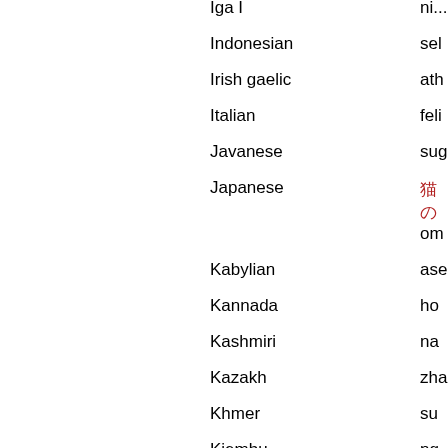| Language | Word |
| --- | --- |
| Indonesian | sel... |
| Irish gaelic | ath... |
| Italian | feli... |
| Javanese | sug... |
| Japanese | 猫の... om... |
| Kabylian | ase... |
| Kannada | ho... |
| Kashmiri | na... |
| Kazakh | zha... |
| Khmer | su... |
| Kiembu | ng... |
| Kinyarwanda | ... |